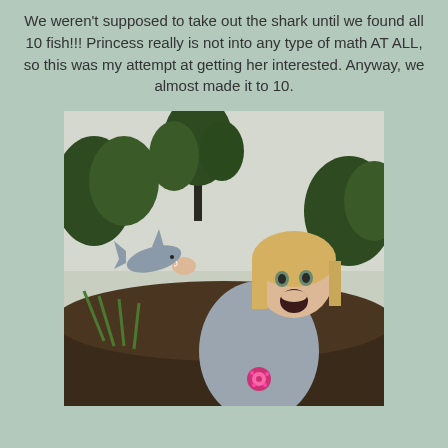We weren't supposed to take out the shark until we found all 10 fish!!! Princess really is not into any type of math AT ALL, so this was my attempt at getting her interested. Anyway, we almost made it to 10.
[Figure (photo): A young blonde girl holding up a toy shark with an excited/surprised expression. She is outdoors with green bushes and trees in the background. She is wearing a gray long-sleeve shirt with a pink flower accessory.]